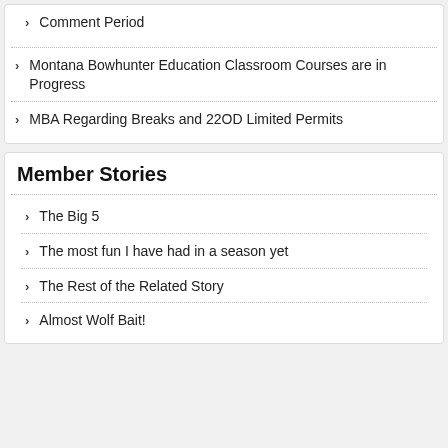Comment Period
Montana Bowhunter Education Classroom Courses are in Progress
MBA Regarding Breaks and 22OD Limited Permits
Member Stories
The Big 5
The most fun I have had in a season yet
The Rest of the Related Story
Almost Wolf Bait!